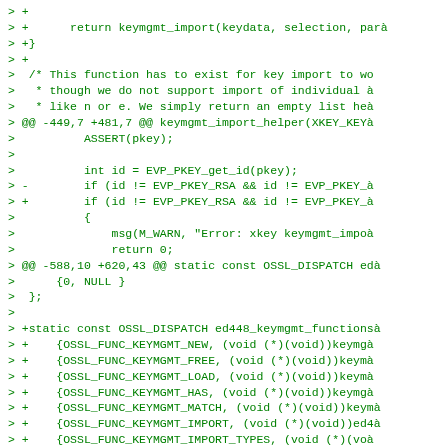[Figure (screenshot): Code diff showing modifications to OpenSSL keymgmt functions, including return keymgmt_import, closing brace, comment block about key import, @@ diff hunks, ASSERT(pkey), int id = EVP_PKEY_get_id(pkey), conditional changes, msg warning, return 0, and static const OSSL_DISPATCH ed448_keymgmt_functions array with multiple OSSL_FUNC_KEYMGMT entries.]